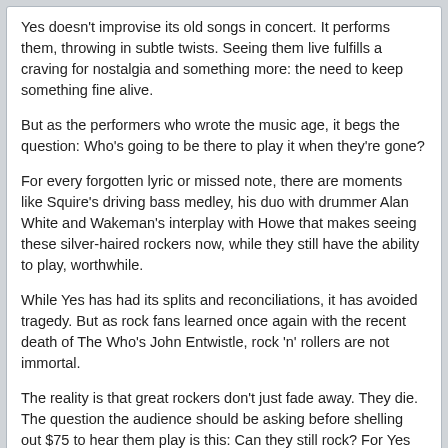Yes doesn't improvise its old songs in concert. It performs them, throwing in subtle twists. Seeing them live fulfills a craving for nostalgia and something more: the need to keep something fine alive.
But as the performers who wrote the music age, it begs the question: Who's going to be there to play it when they're gone?
For every forgotten lyric or missed note, there are moments like Squire's driving bass medley, his duo with drummer Alan White and Wakeman's interplay with Howe that makes seeing these silver-haired rockers now, while they still have the ability to play, worthwhile.
While Yes has had its splits and reconciliations, it has avoided tragedy. But as rock fans learned once again with the recent death of The Who's John Entwistle, rock 'n' rollers are not immortal.
The reality is that great rockers don't just fade away. They die. The question the audience should be asking before shelling out $75 to hear them play is this: Can they still rock? For Yes the answer is "Yes." At least for now.
Whitney Johnson